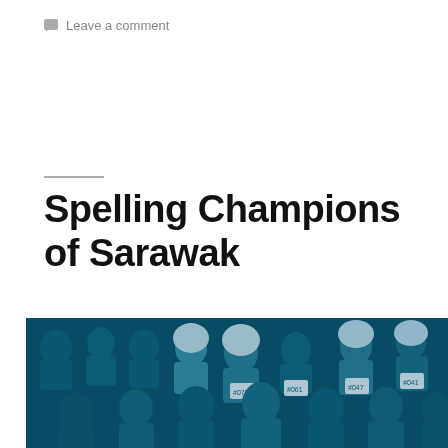Leave a comment
Spelling Champions of Sarawak
[Figure (photo): Group of students seated in rows at what appears to be a spelling competition in Sarawak. Many students are wearing numbered bibs (e.g. #075, #061, #041, #047). Several female students are wearing white hijabs. The image has a blue tint overlay.]